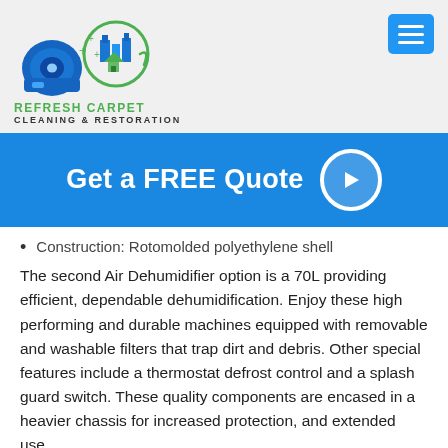[Figure (logo): Refresh Carpet Cleaning & Restoration logo with air mover and building icons]
[Figure (other): Blue menu/hamburger button icon in top right corner]
[Figure (other): Blue banner with 'Get a FREE Quote' text and arrow circle icon]
Construction: Rotomolded polyethylene shell
The second Air Dehumidifier option is a 70L providing efficient, dependable dehumidification. Enjoy these high performing and durable machines equipped with removable and washable filters that trap dirt and debris. Other special features include a thermostat defrost control and a splash guard switch. These quality components are encased in a heavier chassis for increased protection, and extended use.